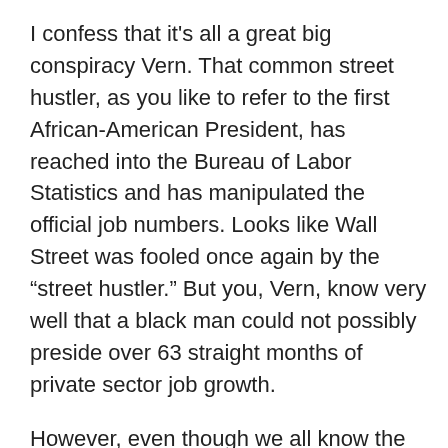I confess that it's all a great big conspiracy Vern. That common street hustler, as you like to refer to the first African-American President, has reached into the Bureau of Labor Statistics and has manipulated the official job numbers. Looks like Wall Street was fooled once again by the “street hustler.” But you, Vern, know very well that a black man could not possibly preside over 63 straight months of private sector job growth.
However, even though we all know the numbers were rigged (as usual,) the so-called “official” report says that of the 223,000 non-farm jobs created in April under President Obama, 213,000 were in the private sector and 10,000 were in government.